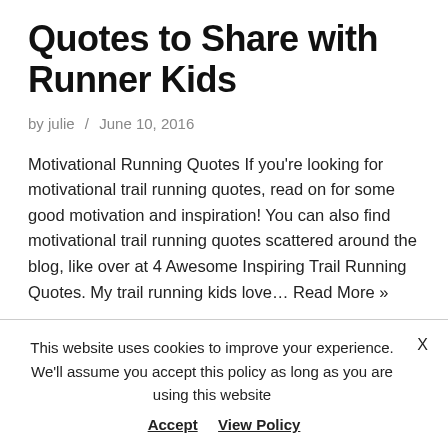Quotes to Share with Runner Kids
by julie / June 10, 2016
Motivational Running Quotes If you're looking for motivational trail running quotes, read on for some good motivation and inspiration! You can also find motivational trail running quotes scattered around the blog, like over at 4 Awesome Inspiring Trail Running Quotes. My trail running kids love… Read More »
This website uses cookies to improve your experience. We'll assume you accept this policy as long as you are using this website
Accept   View Policy